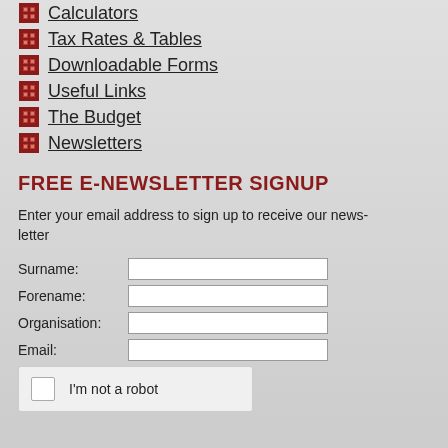Calculators
Tax Rates & Tables
Downloadable Forms
Useful Links
The Budget
Newsletters
FREE E-NEWSLETTER SIGNUP
Enter your email address to sign up to receive our newsletter
Surname:
Forename:
Organisation:
Email:
[Figure (other): reCAPTCHA widget with checkbox and 'I'm not a robot' text]